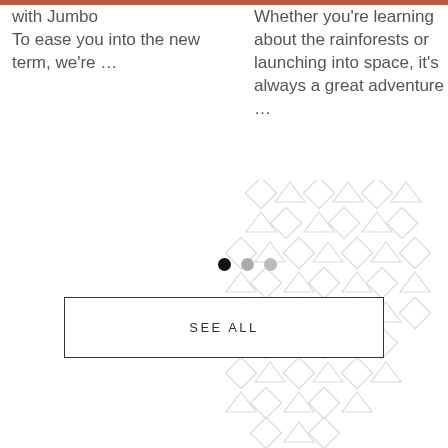with Jumbo
To ease you into the new term, we're …
Whether you're learning about the rainforests or launching into space, it's always a great adventure …
[Figure (illustration): Decorative snowflake-like geometric pattern made of overlapping diamonds and triangles in light gray outline style]
SEE ALL